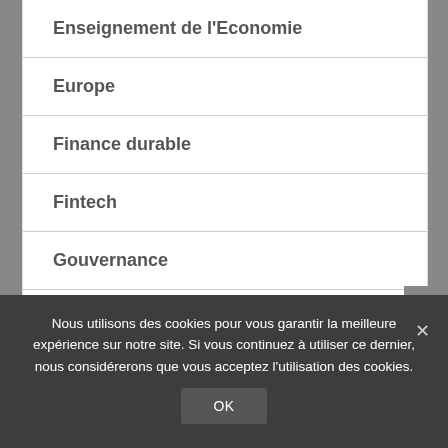Enseignement de l'Economie
Europe
Finance durable
Fintech
Gouvernance
Histoire
Nous utilisons des cookies pour vous garantir la meilleure expérience sur notre site. Si vous continuez à utiliser ce dernier, nous considérerons que vous acceptez l'utilisation des cookies.
OK